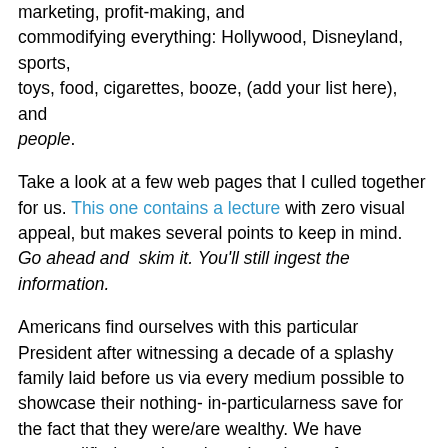marketing, profit-making, and commodifying everything: Hollywood, Disneyland, sports, toys, food, cigarettes, booze, (add your list here), and people.
Take a look at a few web pages that I culled together for us. This one contains a lecture with zero visual appeal, but makes several points to keep in mind. Go ahead and skim it. You'll still ingest the information.
Americans find ourselves with this particular President after witnessing a decade of a splashy family laid before us via every medium possible to showcase their nothing-in-particularness save for the fact that they were/are wealthy. We have commodified people to the point where after ingesting billions of bytes of product placement through rigorous ad campaigns, we elected an inhumane product. What else can you say about the Trump name but